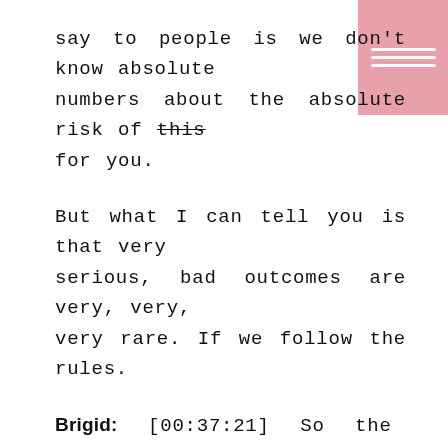say to people is we don't know absolute numbers about the absolute risk of this for you.
But what I can tell you is that very serious, bad outcomes are very, very, very rare. If we follow the rules.
Brigid: [00:37:21] So the rules are, you're a good candidate to begin with. You come into spontaneous labour, you labour well and progress. Well, yes. And,